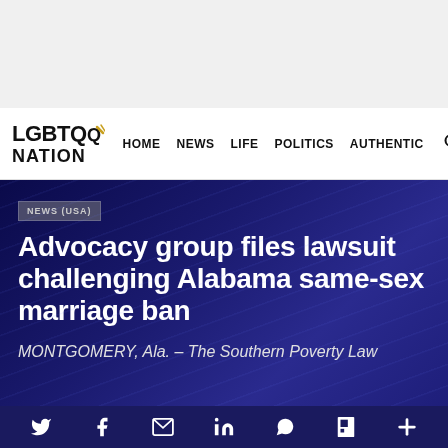[Figure (other): Grey advertisement banner placeholder at top of page]
LGBTQ NATION | HOME | NEWS | LIFE | POLITICS | AUTHENTIC
NEWS (USA)
Advocacy group files lawsuit challenging Alabama same-sex marriage ban
MONTGOMERY, Ala. – The Southern Poverty Law
Social share bar: Twitter, Facebook, Email, LinkedIn, WhatsApp, Flipboard, More